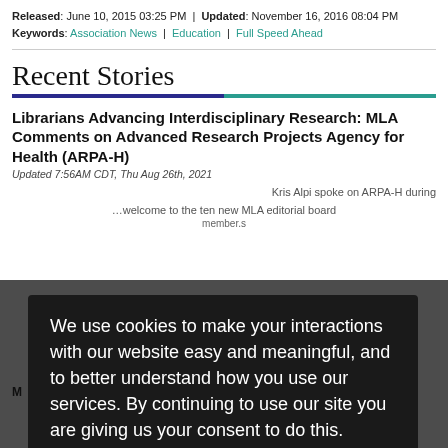Released: June 10, 2015 03:25 PM | Updated: November 16, 2016 08:04 PM
Keywords: Association News | Education | Full Speed Ahead
Recent Stories
Librarians Advancing Interdisciplinary Research: MLA Comments on Advanced Research Projects Agency for Health (ARPA-H)
Updated 7:56AM CDT, Thu Aug 26th, 2021
We use cookies to make your interactions with our website easy and meaningful, and to better understand how you use our services. By continuing to use our site you are giving us your consent to do this. Please review our privacy policy to learn more.
Privacy Policy
✔ Accept